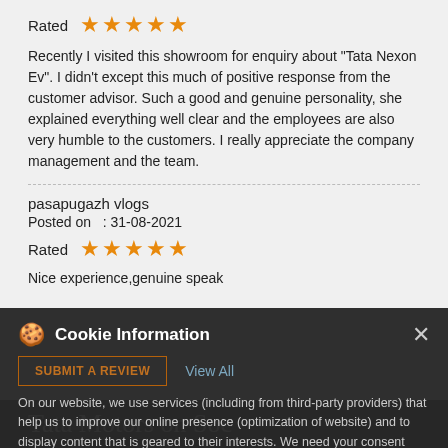Rated ★★★★★
Recently I visited this showroom for enquiry about "Tata Nexon Ev". I didn't except this much of positive response from the customer advisor. Such a good and genuine personality, she explained everything well clear and the employees are also very humble to the customers. I really appreciate the company management and the team.
pasapugazh vlogs
Posted on  : 31-08-2021
Rated ★★★★★
Nice experience,genuine speak
Cookie Information
On our website, we use services (including from third-party providers) that help us to improve our online presence (optimization of website) and to display content that is geared to their interests. We need your consent before being able to use these services.
SUBMIT A REVIEW
View All
I ACCEPT
Tata Motors on Soc…